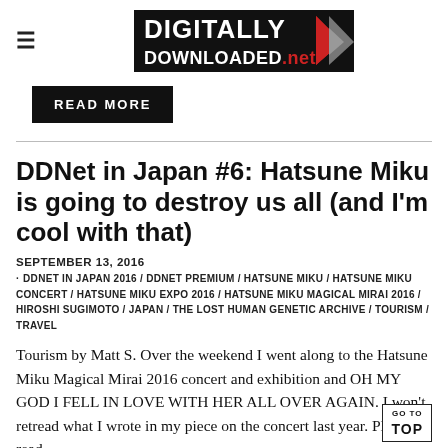≡ DIGITALLY DOWNLOADED.net
READ MORE
DDNet in Japan #6: Hatsune Miku is going to destroy us all (and I'm cool with that)
SEPTEMBER 13, 2016
DDNET IN JAPAN 2016 / DDNET PREMIUM / HATSUNE MIKU / HATSUNE MIKU CONCERT / HATSUNE MIKU EXPO 2016 / HATSUNE MIKU MAGICAL MIRAI 2016 / HIROSHI SUGIMOTO / JAPAN / THE LOST HUMAN GENETIC ARCHIVE / TOURISM / TRAVEL
Tourism by Matt S. Over the weekend I went along to the Hatsune Miku Magical Mirai 2016 concert and exhibition and OH MY GOD I FELL IN LOVE WITH HER ALL OVER AGAIN. I won't retread what I wrote in my piece on the concert last year. Please do read...